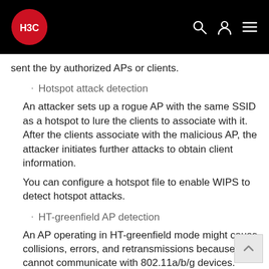H3C logo and navigation header
sent the by authorized APs or clients.
Hotspot attack detection
An attacker sets up a rogue AP with the same SSID as a hotspot to lure the clients to associate with it. After the clients associate with the malicious AP, the attacker initiates further attacks to obtain client information.
You can configure a hotspot file to enable WIPS to detect hotspot attacks.
HT-greenfield AP detection
An AP operating in HT-greenfield mode might cause collisions, errors, and retransmissions because it cannot communicate with 802.11a/b/g devices. WIPS detects HT-greenfield APs by analyzing the beacon frames or probe response